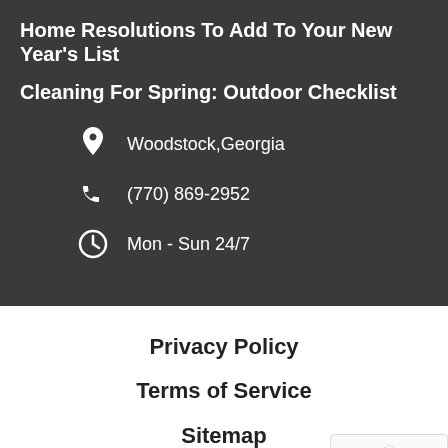Home Resolutions To Add To Your New Year's List
Cleaning For Spring: Outdoor Checklist
Woodstock, Georgia
(770) 869-2952
Mon - Sun 24/7
Privacy Policy
Terms of Service
Sitemap
Contact Us